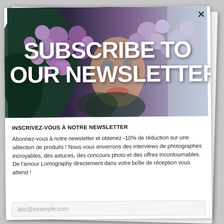[Figure (photo): Person's face partially hidden by purple/lilac flowers with 'SUBSCRIBE TO OUR NEWSLETTER' text overlay in large white bold font]
INSCRIVEZ-VOUS À NOTRE NEWSLETTER
Abonnez-vous à notre newsletter et obtenez -10% de réduction sur une sélection de produits ! Nous vous enverrons des interviews de photographes incroyables, des astuces, des concours photo et des offres incontournables. De l'amour Lomography directement dans votre boîte de réception vous attend !
abc@example.com